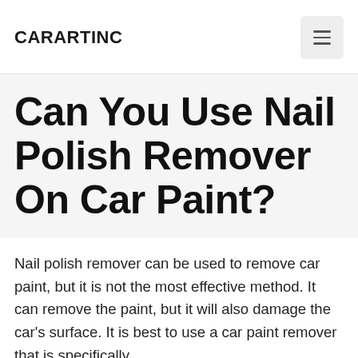CARARTINC
Can You Use Nail Polish Remover On Car Paint?
Nail polish remover can be used to remove car paint, but it is not the most effective method. It can remove the paint, but it will also damage the car's surface. It is best to use a car paint remover that is specifically